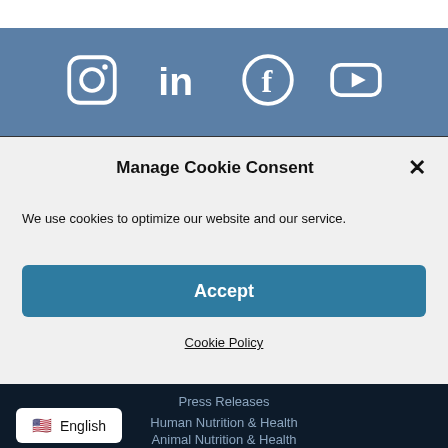[Figure (screenshot): Social media bar with Instagram, LinkedIn, Facebook, and YouTube icons on steel blue background]
Manage Cookie Consent
We use cookies to optimize our website and our service.
Accept
Cookie Policy
Press Releases
Human Nutrition & Health
Animal Nutrition & Health
English